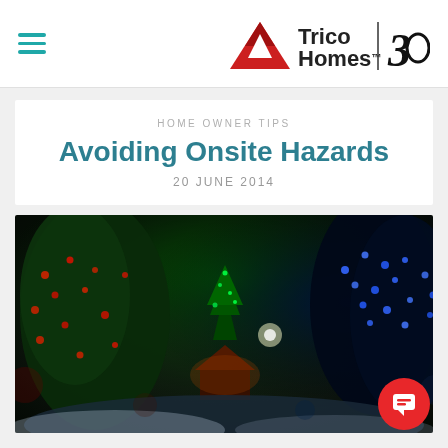Trico Homes | 30
HOME OWNER TIPS
Avoiding Onsite Hazards
20 JUNE 2014
[Figure (photo): Night scene with Christmas trees decorated with colourful lights (red, green, blue), a small illuminated chalet building in the background, dark sky.]